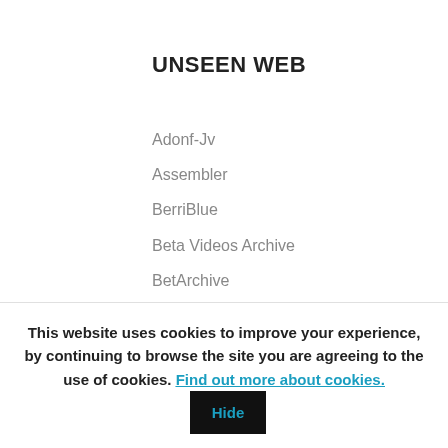UNSEEN WEB
Adonf-Jv
Assembler
BerriBlue
Beta Videos Archive
BetArchive
Did You Know Gaming
Elude Visibility
Games That Weren't
GamesCollection
GDRI
Gilgalegrouik
Glitch Gamer
This website uses cookies to improve your experience, by continuing to browse the site you are agreeing to the use of cookies. Find out more about cookies. Hide